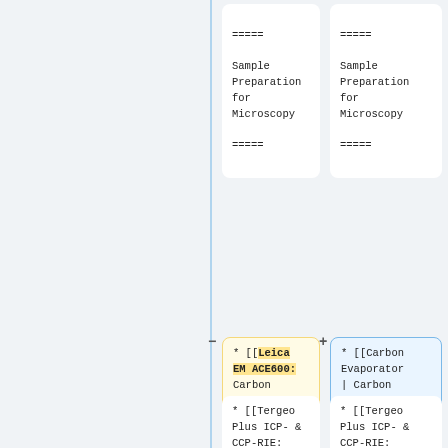[Figure (screenshot): Diff view showing two columns with wiki-style content cards. Left column shows cards with monospace text about 'Sample Preparation for Microscopy' and a Leica EM ACE600 carbon evaporator entry with yellow highlight and minus diff marker. Right column shows matching cards with blue border and plus diff marker. Bottom cards show Tergeo Plus ICP- & CCP-RIE entries.]
=====
Sample
Preparation
for
Microscopy
=====
=====
Sample
Preparation
for
Microscopy
=====
* [[Leica EM ACE600: Carbon Evaporator | Carbon Evaporator (Leica EM ACE600) to make samples conductive]]
* [[Carbon Evaporator | Carbon Evaporator (Leica EM ACE600) to make samples conductive]]
* [[Tergeo Plus ICP- & CCP-RIE:
* [[Tergeo Plus ICP- & CCP-RIE: